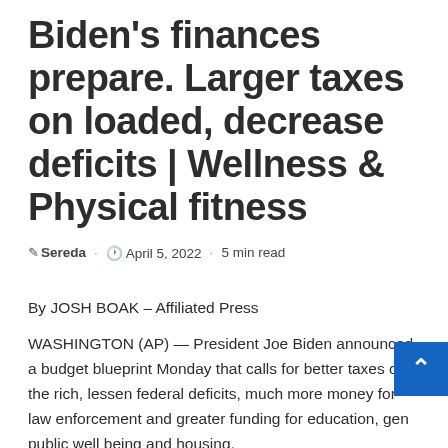Biden's finances prepare. Larger taxes on loaded, decrease deficits | Wellness & Physical fitness
Sereda · April 5, 2022 · 5 min read
By JOSH BOAK – Affiliated Press
WASHINGTON (AP) — President Joe Biden announced a budget blueprint Monday that calls for better taxes on the rich, lessen federal deficits, much more money for law enforcement and greater funding for education, gen public well being and housing.
We are able to assert that to the greater extent that…